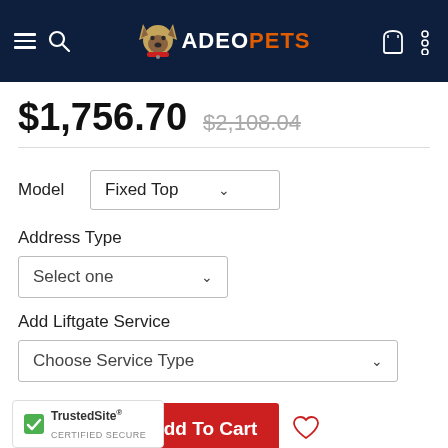ADEOPETS navigation header
$1,756.70  $2,108.04
Model  Fixed Top
Address Type  Select one
Add Liftgate Service  Choose Service Type
1  Add To Cart
Free Shipping on orders over $150
Ships in 2-4 weeks
TrustedSite CERTIFIED SECURE